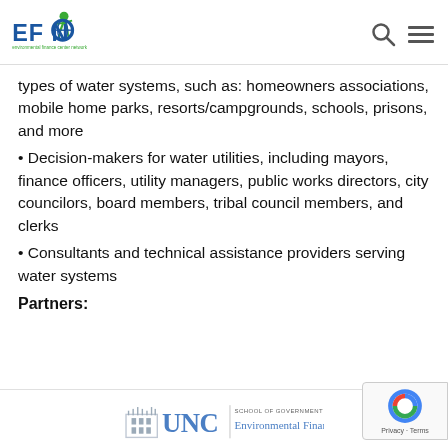EFCN - Environmental Finance Center Network
types of water systems, such as: homeowners associations, mobile home parks, resorts/campgrounds, schools, prisons, and more
• Decision-makers for water utilities, including mayors, finance officers, utility managers, public works directors, city councilors, board members, tribal council members, and clerks
• Consultants and technical assistance providers serving water systems
Partners:
[Figure (logo): UNC School of Government Environmental Finance Center logo with building icon and UNC text]